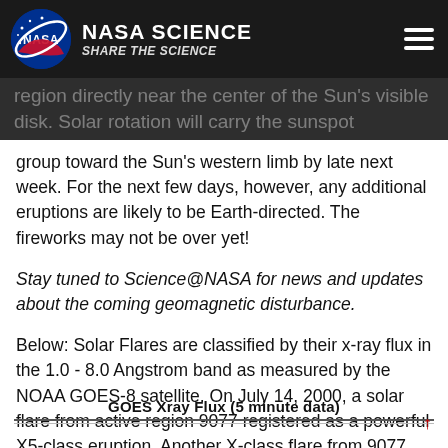NASA SCIENCE | SHARE THE SCIENCE
region directly near the center of the Sun's visible disk. Solar rotation will carry the sunspot group toward the Sun's western limb by late next week. For the next few days, however, any additional eruptions are likely to be Earth-directed. The fireworks may not be over yet!
Stay tuned to Science@NASA for news and updates about the coming geomagnetic disturbance.
Below: Solar Flares are classified by their x-ray flux in the 1.0 - 8.0 Angstrom band as measured by the NOAA GOES-8 satellite. On July 14, 2000, a solar flare from active region 9077 registered as a powerful X5-class eruption. Another X-class flare from 9077 was recorded on July 12, 2000.
GOES Xray Flux (5 minute data)